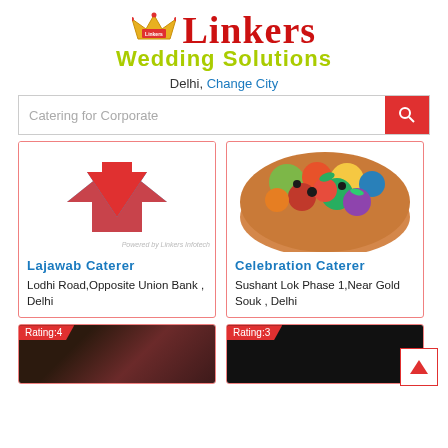[Figure (logo): Linkers Wedding Solutions logo with crown icon, red serif text 'Linkers' and olive/yellow-green 'Wedding Solutions' text]
Delhi, Change City
Catering for Corporate
[Figure (logo): Lajawab Caterer logo - red and blue arrow/chevron shapes on white background, with 'Powered by Linkers Infotech' watermark]
Lajawab Caterer
Lodhi Road,Opposite Union Bank , Delhi
[Figure (photo): Photo of colorful food salad/appetizer dish in a bowl]
Celebration Caterer
Sushant Lok Phase 1,Near Gold Souk , Delhi
Rating:4
Rating:3